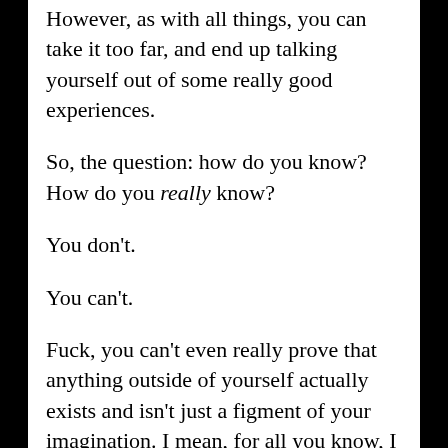However, as with all things, you can take it too far, and end up talking yourself out of some really good experiences.
So, the question: how do you know? How do you really know?
You don't.
You can't.
Fuck, you can't even really prove that anything outside of yourself actually exists and isn't just a figment of your imagination. I mean, for all you know, I might not exist. This e-mail could just be magically